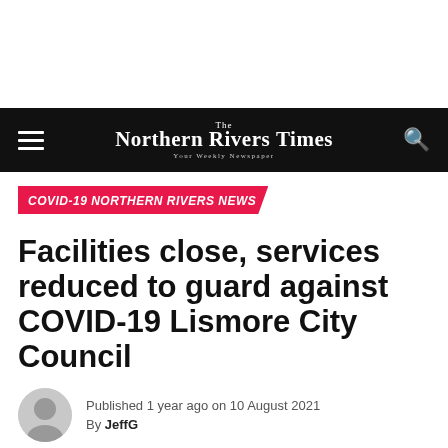The Northern Rivers Times — Your Weekly Newspaper
COVID-19 NORTHERN RIVERS NEWS
Facilities close, services reduced to guard against COVID-19 Lismore City Council
Published 1 year ago on 10 August 2021 By JeffG